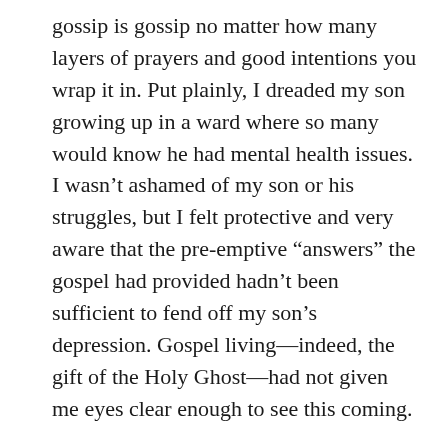gossip is gossip no matter how many layers of prayers and good intentions you wrap it in. Put plainly, I dreaded my son growing up in a ward where so many would know he had mental health issues. I wasn't ashamed of my son or his struggles, but I felt protective and very aware that the pre-emptive “answers” the gospel had provided hadn't been sufficient to fend off my son's depression. Gospel living—indeed, the gift of the Holy Ghost—had not given me eyes clear enough to see this coming.
So my husband and I took Eric to a non-LDS counselor. I worried about this choice, fearing this counselor might identify our religion as part of my son's problem and, to be honest, that was something I didn't want to face. But my husband